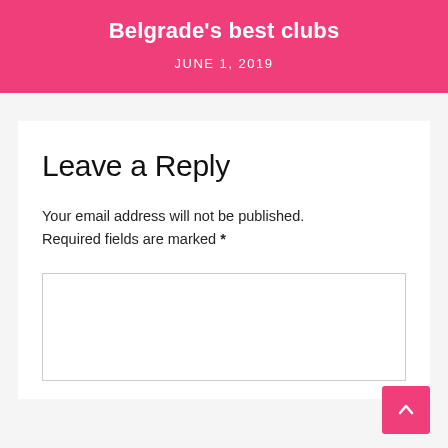Belgrade's best clubs
JUNE 1, 2019
Leave a Reply
Your email address will not be published. Required fields are marked *